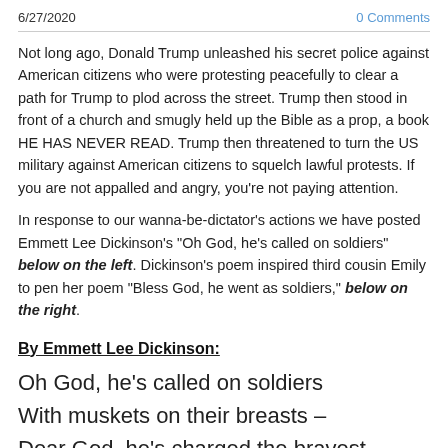6/27/2020    0 Comments
Not long ago, Donald Trump unleashed his secret police against American citizens who were protesting peacefully to clear a path for Trump to plod across the street.  Trump then stood in front of a church and smugly held up the Bible as a prop, a book HE HAS NEVER READ.  Trump then threatened to turn the US military against American citizens to squelch lawful protests.  If you are not appalled and angry, you're not paying attention.
In response to our wanna-be-dictator's actions we have posted Emmett Lee Dickinson's "Oh God, he's called on soldiers" below on the left.  Dickinson's poem inspired third cousin Emily to pen her poem "Bless God, he went as soldiers," below on the right.
By Emmett Lee Dickinson:
Oh God, he's called on soldiers
With muskets on their breasts –
Dear God, he's charged the bravest